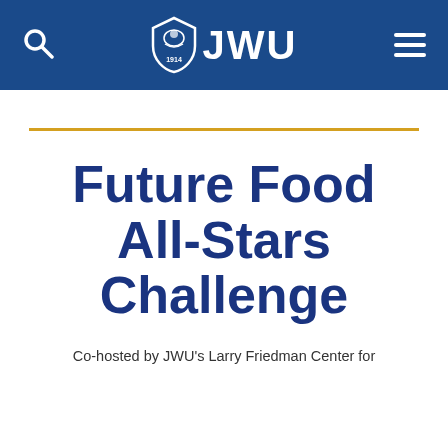JWU navigation bar with search, logo, and menu
Future Food All-Stars Challenge
Co-hosted by JWU's Larry Friedman Center for